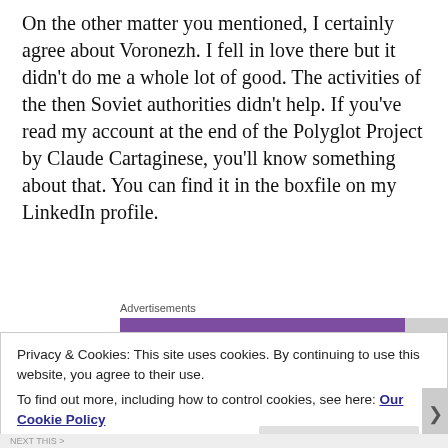On the other matter you mentioned, I certainly agree about Voronezh. I fell in love there but it didn't do me a whole lot of good. The activities of the then Soviet authorities didn't help. If you've read my account at the end of the Polyglot Project by Claude Cartaginese, you'll know something about that. You can find it in the boxfile on my LinkedIn profile.
Advertisements
[Figure (logo): WooCommerce logo on purple banner background]
Privacy & Cookies: This site uses cookies. By continuing to use this website, you agree to their use.
To find out more, including how to control cookies, see here: Our Cookie Policy